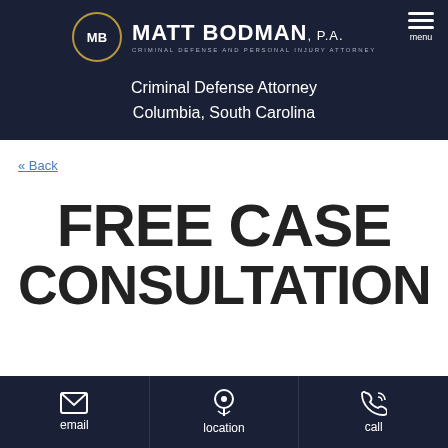MATT BODMAN, P.A. — Criminal Defense and Personal Injury Attorney
Criminal Defense Attorney
Columbia, South Carolina
« Back
FREE CASE CONSULTATION
email | location | call